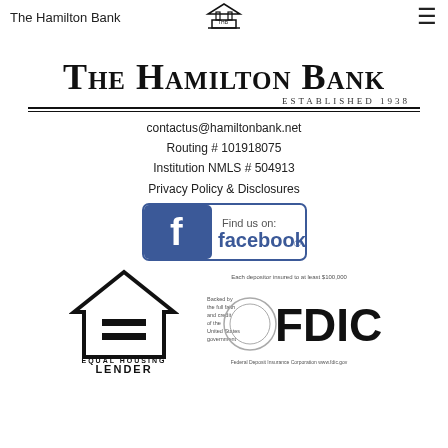The Hamilton Bank
[Figure (logo): The Hamilton Bank architectural logo/icon at top center]
THE HAMILTON BANK ESTABLISHED 1938
contactus@hamiltonbank.net
Routing # 101918075
Institution NMLS # 504913
Privacy Policy & Disclosures
[Figure (logo): Find us on Facebook badge/button]
[Figure (logo): Equal Housing Lender logo]
[Figure (logo): FDIC insured logo - Each depositor insured to at least $100,000]